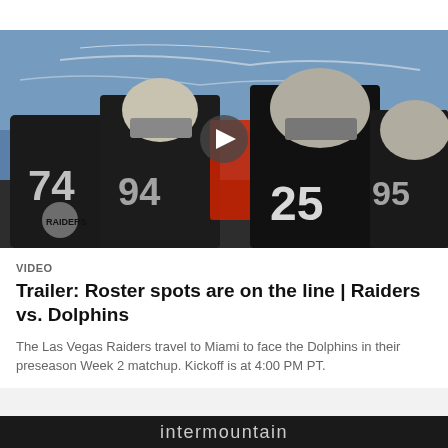[Figure (photo): Las Vegas Raiders players in black jerseys and helmets during a practice session, grouped together on a sunny day. Players visible include numbers 74, 94, 25, and 95. A video play button overlay is visible in the center.]
VIDEO
Trailer: Roster spots are on the line | Raiders vs. Dolphins
The Las Vegas Raiders travel to Miami to face the Dolphins in their preseason Week 2 matchup. Kickoff is at 4:00 PM PT.
intermountain